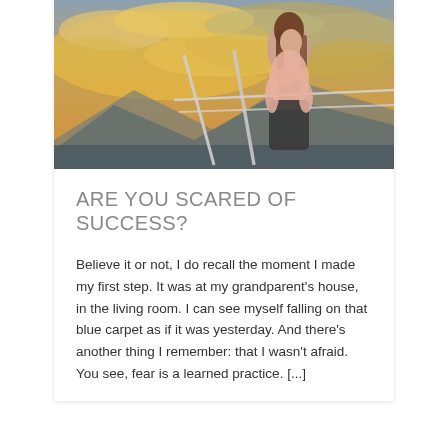[Figure (photo): A young woman with long brunette hair wearing a pink blouse, standing at a railing outdoors against a dramatic golden sunset sky with clouds and mountains in the background.]
ARE YOU SCARED OF SUCCESS?
Believe it or not, I do recall the moment I made my first step. It was at my grandparent's house, in the living room. I can see myself falling on that blue carpet as if it was yesterday. And there's another thing I remember: that I wasn't afraid. You see, fear is a learned practice. [...]